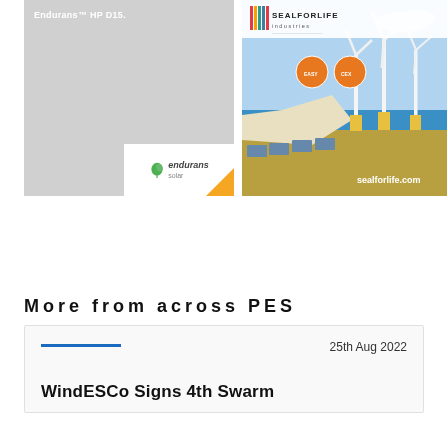[Figure (advertisement): Endurans Solar HP D15 advertisement with grey background, Endurans Solar logo in white box at bottom right, orange corner triangle accent]
[Figure (advertisement): Seal For Life Industries advertisement with wind turbines offshore illustration, solar panels, EASY-COAT and CEXPRESS logos, sealforlife.com URL]
More from across PES
25th Aug 2022
WindESCo Signs 4th Swarm